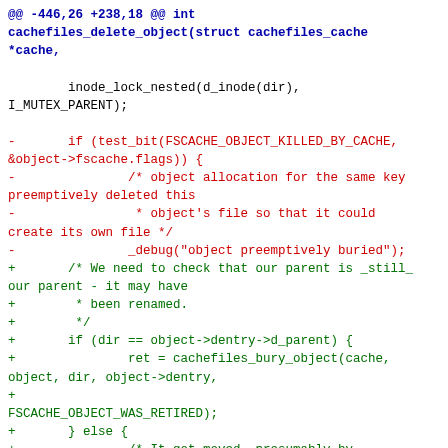@@ -446,26 +238,18 @@ int cachefiles_delete_object(struct cachefiles_cache *cache,

        inode_lock_nested(d_inode(dir),
I_MUTEX_PARENT);

-       if (test_bit(FSCACHE_OBJECT_KILLED_BY_CACHE,
&object->fscache.flags)) {
-               /* object allocation for the same key preemptively deleted this
-                * object's file so that it could create its own file */
-               _debug("object preemptively buried");
+       /* We need to check that our parent is _still_ our parent - it may have
+        * been renamed.
+        */
+       if (dir == object->dentry->d_parent) {
+               ret = cachefiles_bury_object(cache,
object, dir, object->dentry,
+
FSCACHE_OBJECT_WAS_RETIRED);
+       } else {
+               /* It got moved, presumably by cachefilesd culling it, so it's
+                * no longer in the key path and we can ignore it.
+                */
+               inode_unlock(d_inode(dir));